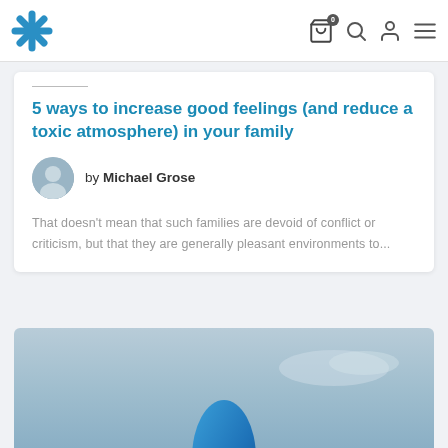Navigation bar with logo and icons (cart, search, user, menu)
5 ways to increase good feelings (and reduce a toxic atmosphere) in your family
by Michael Grose
That doesn't mean that such families are devoid of conflict or criticism, but that they are generally pleasant environments to...
[Figure (photo): Blue egg or balloon shape against a light blue/grey sky background]